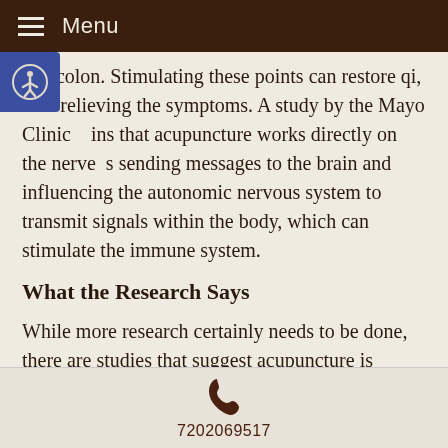Menu
and colon. Stimulating these points can restore qi, thus relieving the symptoms. A study by the Mayo Clinic confirms that acupuncture works directly on the nerve s sending messages to the brain and influencing the autonomic nervous system to transmit signals within the body, which can stimulate the immune system.
What the Research Says
While more research certainly needs to be done, there are studies that suggest acupuncture is helpful in treating allergic rhinitis. For example, a 2015 review of 13 randomized-control studies of more than 2,000 participants found that those receiving acupuncture
7202069517